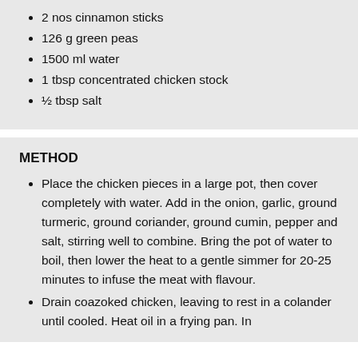2 nos cinnamon sticks
126 g green peas
1500 ml water
1 tbsp concentrated chicken stock
½ tbsp salt
METHOD
Place the chicken pieces in a large pot, then cover completely with water. Add in the onion, garlic, ground turmeric, ground coriander, ground cumin, pepper and salt, stirring well to combine. Bring the pot of water to boil, then lower the heat to a gentle simmer for 20-25 minutes to infuse the meat with flavour.
Drain coazoked chicken, leaving to rest in a colander until cooled. Heat oil in a frying pan. In